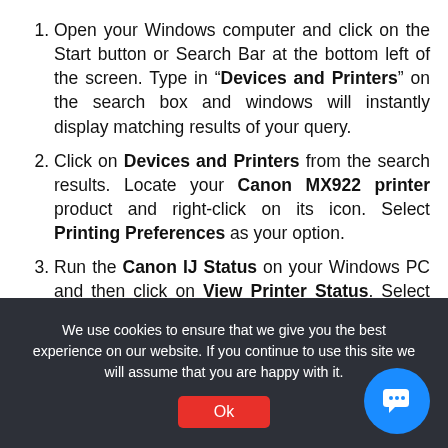Open your Windows computer and click on the Start button or Search Bar at the bottom left of the screen. Type in "“Devices and Printers”" on the search box and windows will instantly display matching results of your query.
Click on Devices and Printers from the search results. Locate your Canon MX922 printer product and right-click on its icon. Select Printing Preferences as your option.
Run the Canon IJ Status on your Windows PC and then click on View Printer Status. Select Ink Details as your option.
Your PC will now display the Ink Levels on your
We use cookies to ensure that we give you the best experience on our website. If you continue to use this site we will assume that you are happy with it.